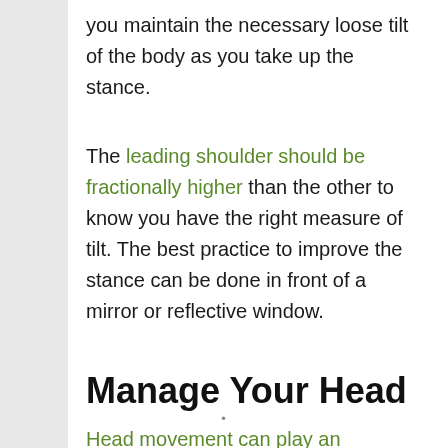you maintain the necessary loose tilt of the body as you take up the stance.
The leading shoulder should be fractionally higher than the other to know you have the right measure of tilt. The best practice to improve the stance can be done in front of a mirror or reflective window.
Manage Your Head
Head movement can play an essential role in